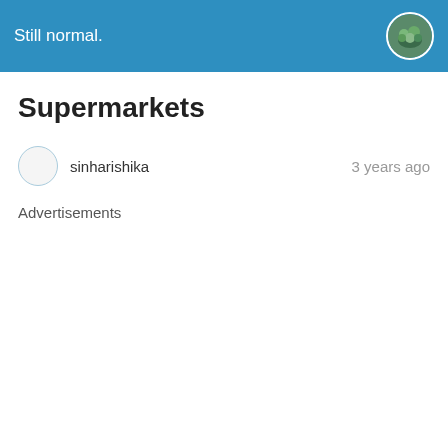Still normal.
Supermarkets
sinharishika    3 years ago
Advertisements